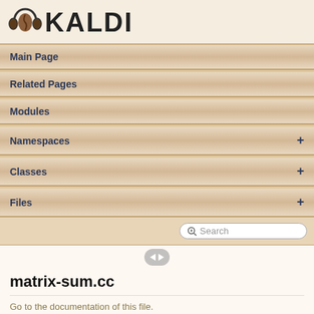[Figure (logo): KALDI logo with coffee bean and headphones icon followed by hand-drawn KALDI text]
Main Page
Related Pages
Modules
Namespaces +
Classes +
Files +
matrix-sum.cc
Go to the documentation of this file.
1  // bin/matrix-sum.cc
2
3  // Copyright  2012-2014  Johns Hopkins University (author: Daniel Povey)